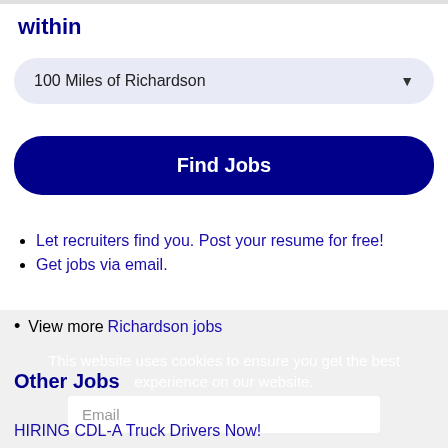within
100 Miles of Richardson
Find Jobs
Let recruiters find you. Post your resume for free!
Get jobs via email.
View more Richardson jobs
This website uses cookies to ensure you get the best experience on our website.
Learn more
Email
Other Jobs
HIRING CDL-A Truck Drivers Now!